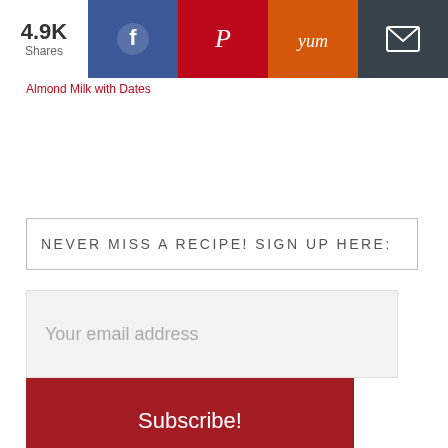[Figure (screenshot): Social share bar with Facebook, Pinterest, Yummly, and email buttons showing 4.9K shares]
Almond Milk with Dates
NEVER MISS A RECIPE! SIGN UP HERE:
Your email address
Subscribe!
As Seen On...
[Figure (logo): Media logos: Food Network, NBC, ABC7, CBS, Fox, WGN]
[Figure (illustration): Accessibility icon button (wheelchair symbol)]